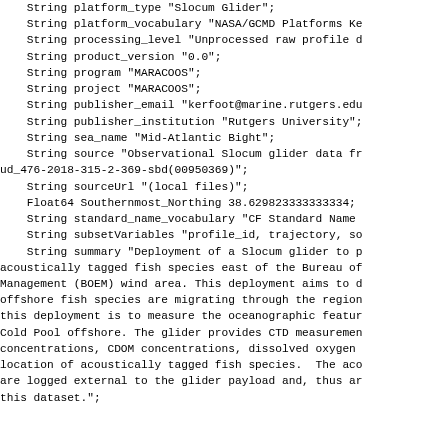String platform_type "Slocum Glider";
    String platform_vocabulary "NASA/GCMD Platforms Ke
    String processing_level "Unprocessed raw profile d
    String product_version "0.0";
    String program "MARACOOS";
    String project "MARACOOS";
    String publisher_email "kerfoot@marine.rutgers.edu
    String publisher_institution "Rutgers University";
    String sea_name "Mid-Atlantic Bight";
    String source "Observational Slocum glider data fr
ud_476-2018-315-2-369-sbd(00950369)";
    String sourceUrl "(local files)";
    Float64 Southernmost_Northing 38.629823333333334;
    String standard_name_vocabulary "CF Standard Name
    String subsetVariables "profile_id, trajectory, so
    String summary "Deployment of a Slocum glider to p
acoustically tagged fish species east of the Bureau of
Management (BOEM) wind area. This deployment aims to d
offshore fish species are migrating through the region
this deployment is to measure the oceanographic featur
Cold Pool offshore. The glider provides CTD measuremen
concentrations, CDOM concentrations, dissolved oxygen
location of acoustically tagged fish species.  The aco
are logged external to the glider payload and, thus ar
this dataset.";